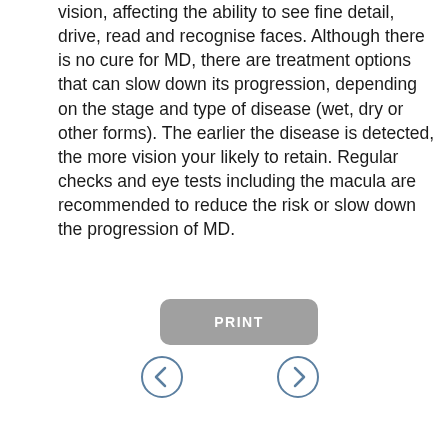vision, affecting the ability to see fine detail, drive, read and recognise faces. Although there is no cure for MD, there are treatment options that can slow down its progression, depending on the stage and type of disease (wet, dry or other forms). The earlier the disease is detected, the more vision your likely to retain. Regular checks and eye tests including the macula are recommended to reduce the risk or slow down the progression of MD.
[Figure (other): A grey rounded rectangle button with the label PRINT in white uppercase bold text]
[Figure (other): Two circular navigation buttons: a left arrow (back) and a right arrow (forward), styled with a teal/blue-grey outline]